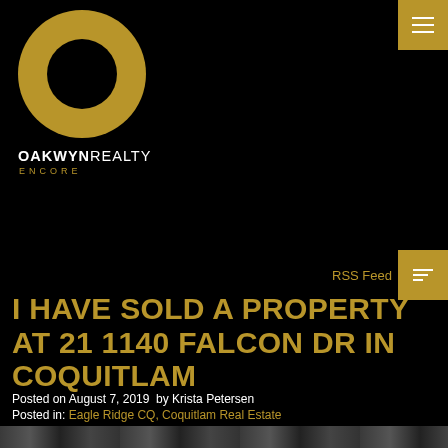[Figure (logo): Oakwyn Realty Encore logo — gold ring/circle above the text OAKWYN REALTY ENCORE]
RSS Feed
I HAVE SOLD A PROPERTY AT 21 1140 FALCON DR IN COQUITLAM
Posted on August 7, 2019  by Krista Petersen
Posted in: Eagle Ridge CQ, Coquitlam Real Estate
[Figure (illustration): Twitter and Facebook social share icons (bird and f symbols inside square outlines)]
[Figure (photo): Partial bottom strip showing a property photo thumbnail]